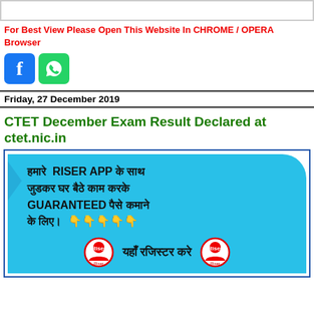[Figure (other): Empty white top bar with border]
For Best View Please Open This Website In CHROME / OPERA Browser
[Figure (other): Facebook and WhatsApp social icons]
Friday, 27 December 2019
CTET December Exam Result Declared at ctet.nic.in
[Figure (infographic): Advertisement banner for RISER APP with Hindi text: हमारे RISER APP के साथ जुडकर घर बैठे काम करके GUARANTEED पैसे कमाने के लिए। 👇👇👇👇👇 यहाँ रजिस्टर करे]